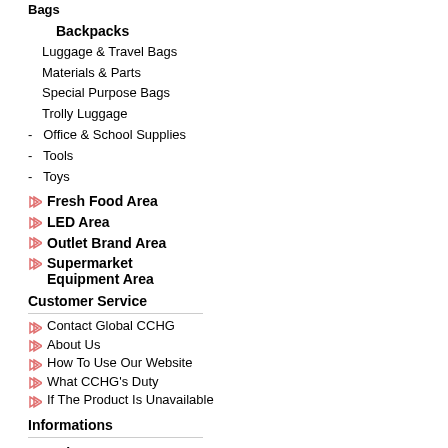Bags
Backpacks
Luggage & Travel Bags
Materials & Parts
Special Purpose Bags
Trolly Luggage
- Office & School Supplies
- Tools
- Toys
Fresh Food Area
LED Area
Outlet Brand Area
Supermarket Equipment Area
Customer Service
Contact Global CCHG
About Us
How To Use Our Website
What CCHG's Duty
If The Product Is Unavailable
Informations
Search